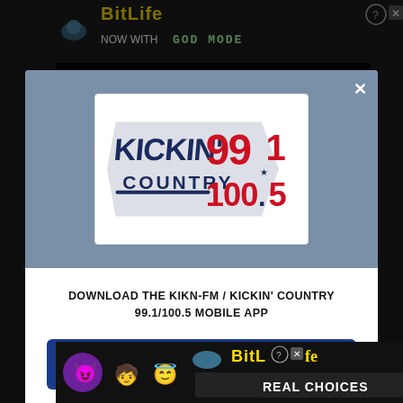[Figure (screenshot): Screenshot of a website modal popup for Kickin' Country 99.1/100.5 radio station app download prompt, with advertisements at top and bottom]
[Figure (logo): Kickin' Country 99.1 / 100.5 radio station logo with dark navy text and red numbers on white background]
DOWNLOAD THE KIKN-FM / KICKIN' COUNTRY 99.1/100.5 MOBILE APP
GET OUR FREE MOBILE APP
Also listen on:  amazon alexa